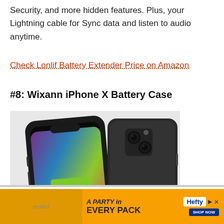Security, and more hidden features. Plus, your Lightning cable for Sync data and listen to audio anytime.
Check Lonlif Battery Extender Price on Amazon
#8: Wixann iPhone X Battery Case
[Figure (photo): Two views of a black iPhone X battery case — front view showing iPhone X screen with 100% Charged green battery icon and colorful display, and rear view showing the black battery case back with dual camera cutout]
[Figure (infographic): Hefty brand advertisement banner with orange background showing 'A PARTY in EVERY PACK' text with product images and Shop Now button]